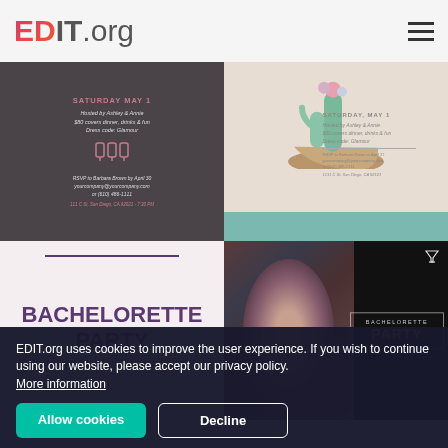EDIT.org
[Figure (illustration): Dark gray bachelorette party invitation card with pink text reading SATURDAY MAY 1, hosted by Ashley & Annie, $80 covers dinner drinks & fun, Dress code: Glamour, RSVP to Barbara Brown by April 30, with address 111 C St, San Diego, CA 92101 - 7:30 PM]
[Figure (illustration): Cream/blush bachelorette party invitation with watercolor cactus in bowl, text SATURDAY, MAY 1, Hosted by Ashley & Annie, $80 covers dinner, drinks & fun, Dress code: Glamour, RSVP to Barbara Brown or April 27, with address and teal bottom bar]
[Figure (illustration): Pink/blush bachelorette party text card with purple text BACHELORETTE PARTY and italic HONORING THE BRIDE-TO-BE JESSICA MILLER]
[Figure (illustration): Dark bachelorette party photo card with woman's photo on left and BACHELORETTE PARTY text on right with pink accent color]
EDIT.org uses cookies to improve the user experience. If you wish to continue using our website, please accept our privacy policy. More information
Allow cookies
Decline